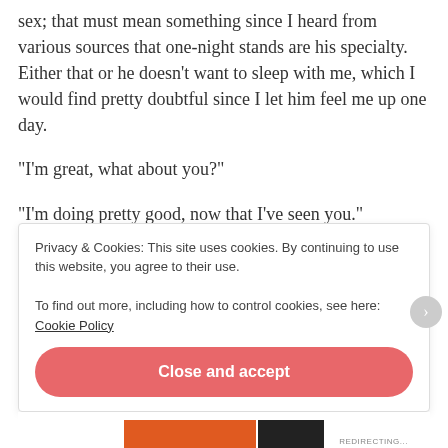sex; that must mean something since I heard from various sources that one-night stands are his specialty. Either that or he doesn't want to sleep with me, which I would find pretty doubtful since I let him feel me up one day.
“I’m great, what about you?”
“I’m doing pretty good, now that I’ve seen you.”
I smiled and caressed his skin. I know I shouldn’t be doing that, but his skin felt so good against mine.
Privacy & Cookies: This site uses cookies. By continuing to use this website, you agree to their use.
To find out more, including how to control cookies, see here: Cookie Policy
Close and accept